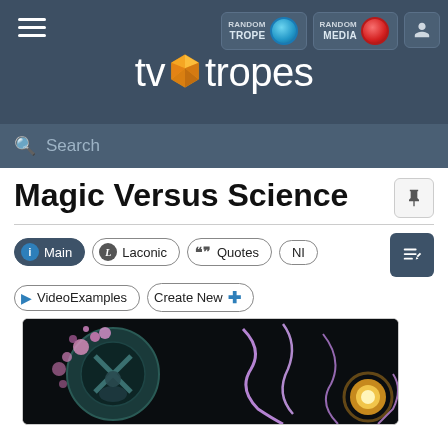[Figure (screenshot): TV Tropes website header/navigation bar with hamburger menu, Random Trope (blue button) and Random Media (red button) controls, user icon, TV Tropes logo with gem icon, and a search bar.]
Magic Versus Science
Main
Laconic
Quotes
NI
VideoExamples
Create New
[Figure (illustration): Comic book style illustration showing a character with science/tech equipment on the left side with pink/purple bubbles, and magical glowing tentacle-like elements on the right side against a dark background.]